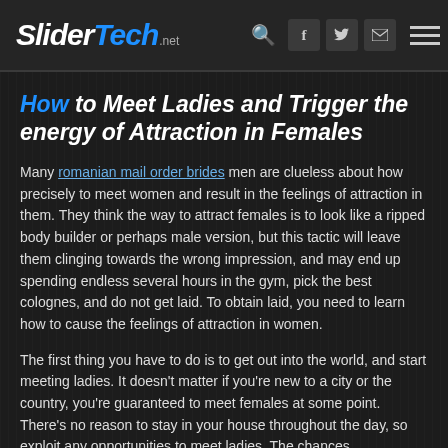SliderTech.net
How to Meet Ladies and Trigger the energy of Attraction in Females
Many romanian mail order brides men are clueless about how precisely to meet women and result in the feelings of attraction in them. They think the way to attract females is to look like a ripped body builder or perhaps male version, but this tactic will leave them clinging towards the wrong impression, and may end up spending endless several hours in the gym, pick the best colognes, and do not get laid. To obtain laid, you need to learn how to cause the feelings of attraction in women.
The first thing you have to do is to get out into the world, and start meeting ladies. It doesn't matter if you're new to a city or the country, you're guaranteed to meet females at some point. There's no reason to stay in your house throughout the day, so exploit any opportunities to meet ladies. The chances